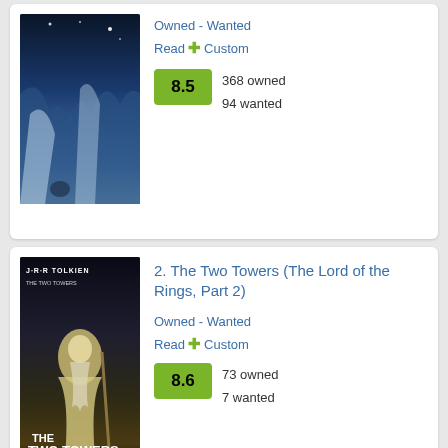Owned - Wanted
Read + Custom
8.5  368 owned  94 wanted
2. The Two Towers (The Lord of the Rings, Part 2)
Owned - Wanted
Read + Custom
8.6  73 owned  7 wanted